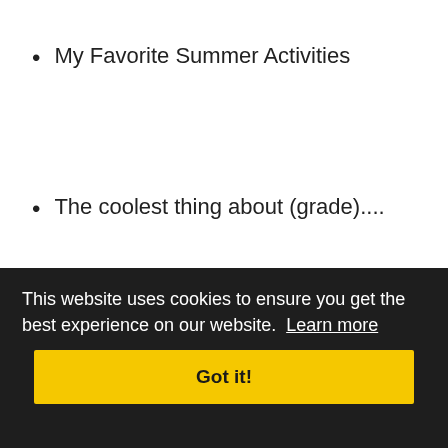My Favorite Summer Activities
The coolest thing about (grade)....
Best Advice
This website uses cookies to ensure you get the best experience on our website.  Learn more
Got it!
**A Special Message from your Teacher (write, type, or add a QR code for a personalized audio message!)**